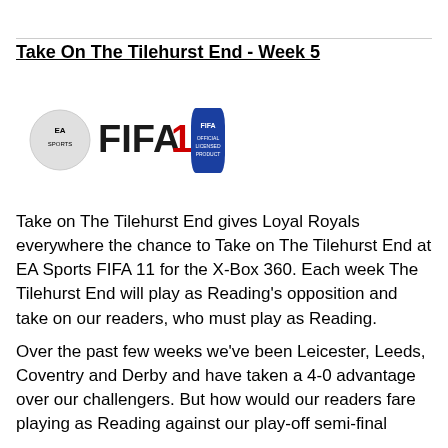Take On The Tilehurst End - Week 5
[Figure (logo): EA Sports FIFA 11 logo with blue shield graphic]
Take on The Tilehurst End gives Loyal Royals everywhere the chance to Take on The Tilehurst End at EA Sports FIFA 11 for the X-Box 360. Each week The Tilehurst End will play as Reading's opposition and take on our readers, who must play as Reading.
Over the past few weeks we've been Leicester, Leeds, Coventry and Derby and have taken a 4-0 advantage over our challengers. But how would our readers fare playing as Reading against our play-off semi-final